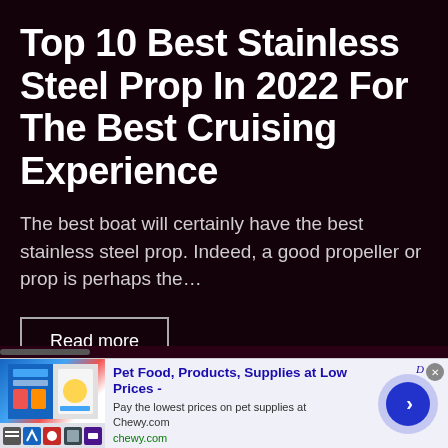Top 10 Best Stainless Steel Prop In 2022 For The Best Cruising Experience
The best boat will certainly have the best stainless steel prop. Indeed, a good propeller or prop is perhaps the...
Read more
[Figure (screenshot): Advertisement banner for Chewy.com showing pet food products with title 'Pet Food, Products, Supplies at Low Prices -', description 'Pay the lowest prices on pet supplies at Chewy.com', URL 'chewy.com', a circular arrow navigation button, close X button, and Ad indicator]